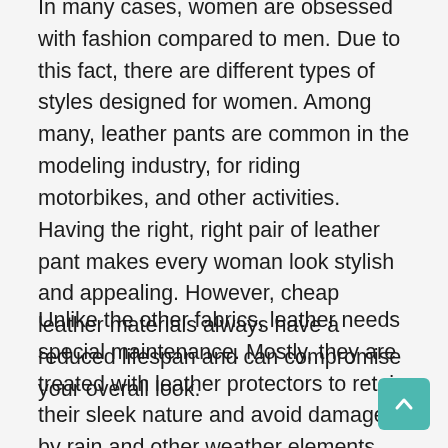In many cases, women are obsessed with fashion compared to men. Due to this fact, there are different types of styles designed for women. Among many, leather pants are common in the modeling industry, for riding motorbikes, and other activities. Having the right, right pair of leather pant makes every woman look stylish and appealing. However, cheap leather materials always have a reduced lifespan and can compromise your overall look.
Unlike the other fabrics, leather needs special maintenance. Mostly, they are treated with leather protectors to retain their sleek nature and avoid damage by rain and other weather elements. There are diverse designs of leather pants one can make. Whether its full length, leggings or capri, market has them in plenty. The